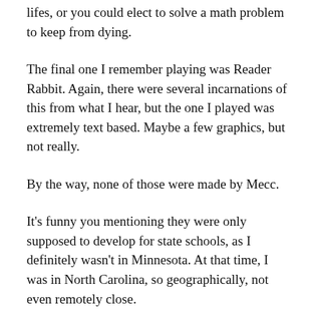lifes, or you could elect to solve a math problem to keep from dying.
The final one I remember playing was Reader Rabbit. Again, there were several incarnations of this from what I hear, but the one I played was extremely text based. Maybe a few graphics, but not really.
By the way, none of those were made by Mecc.
It's funny you mentioning they were only supposed to develop for state schools, as I definitely wasn't in Minnesota. At that time, I was in North Carolina, so geographically, not even remotely close.
Here's one more for you guys from Apple, just to